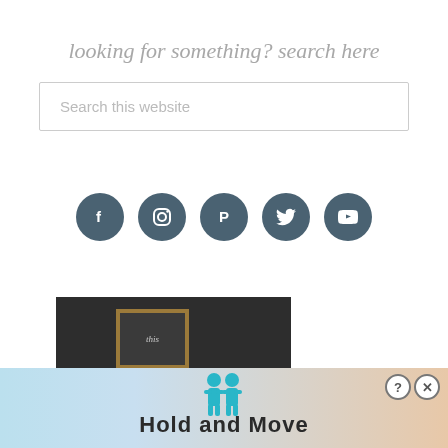looking for something? search here
Search this website
[Figure (infographic): Row of 5 social media icon circles (dark teal): Facebook, Instagram, Pinterest, Twitter, YouTube]
[Figure (photo): Dark chalkboard background with a framed sign reading 'this']
[Figure (infographic): Advertisement banner: blue and peach colored background with two teal figures, question mark button, X close button, and text 'Hold and Move']